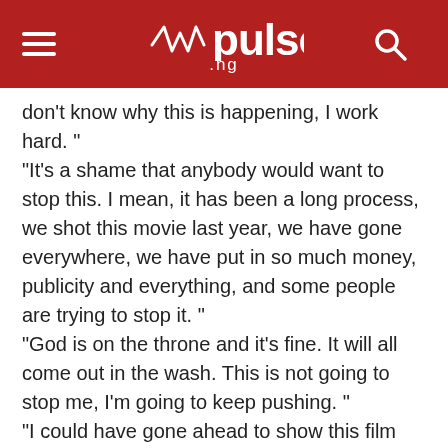pulse.ng
don't know why this is happening, I work hard. "
"It's a shame that anybody would want to stop this. I mean, it has been a long process, we shot this movie last year, we have gone everywhere, we have put in so much money, publicity and everything, and some people are trying to stop it. "
"God is on the throne and it's fine. It will all come out in the wash. This is not going to stop me, I'm going to keep pushing. "
"I could have gone ahead to show this film today, but, I'm a law abiding citizen and I have to follow the law, unfortunately.